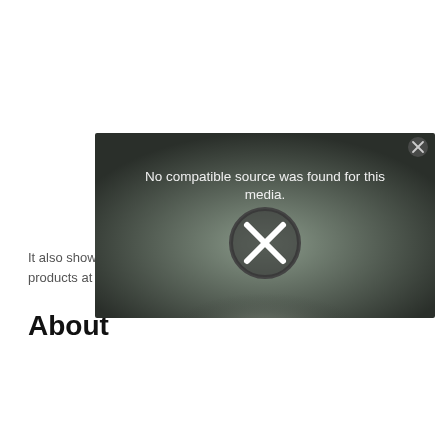It also show products at a
About
[Figure (screenshot): Video player error dialog with dark gradient background. Text reads 'No compatible source was found for this media.' with a circular X icon below. A small close button (x) is in the top-right corner.]